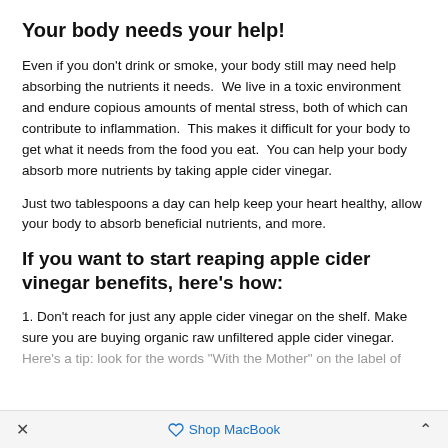Your body needs your help!
Even if you don't drink or smoke, your body still may need help absorbing the nutrients it needs.  We live in a toxic environment and endure copious amounts of mental stress, both of which can contribute to inflammation.  This makes it difficult for your body to get what it needs from the food you eat.  You can help your body absorb more nutrients by taking apple cider vinegar.
Just two tablespoons a day can help keep your heart healthy, allow your body to absorb beneficial nutrients, and more.
If you want to start reaping apple cider vinegar benefits, here's how:
1. Don't reach for just any apple cider vinegar on the shelf. Make sure you are buying organic raw unfiltered apple cider vinegar. Here's a tip: look for the words "With the Mother" on the label of
× Shop MacBook ^